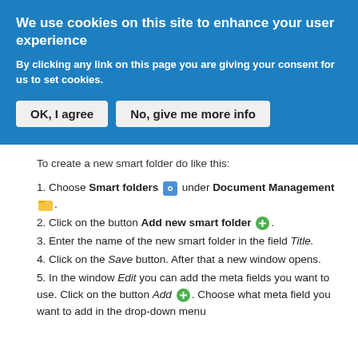We use cookies on this site to enhance your user experience
By clicking any link on this page you are giving your consent for us to set cookies.
[Figure (screenshot): Two buttons: 'OK, I agree' and 'No, give me more info']
To create a new smart folder do like this:
1. Choose Smart folders [icon] under Document Management [icon].
2. Click on the button Add new smart folder [icon].
3. Enter the name of the new smart folder in the field Title.
4. Click on the Save button. After that a new window opens.
5. In the window Edit you can add the meta fields you want to use. Click on the button Add [icon]. Choose what meta field you want to add in the drop-down menu